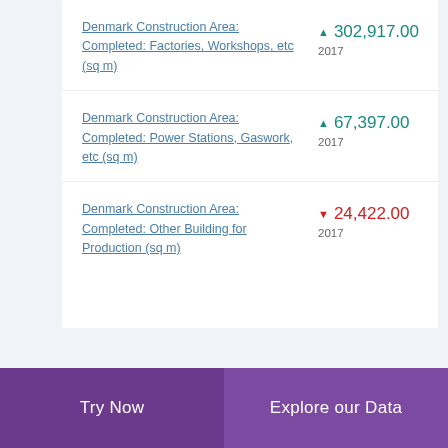Denmark Construction Area: Completed: Factories, Workshops, etc (sq m)
Denmark Construction Area: Completed: Power Stations, Gaswork, etc (sq m)
Denmark Construction Area: Completed: Other Building for Production (sq m)
Try Now | Explore our Data